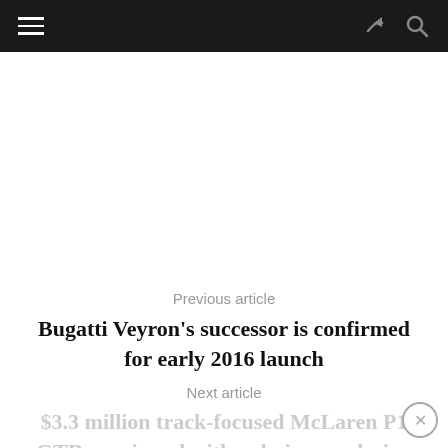≡  ↪ 🔍
Previous article
Bugatti Veyron's successor is confirmed for early 2016 launch
Next article
$3.3 million track-focused McLaren P1 GTR previewed with a design rendering